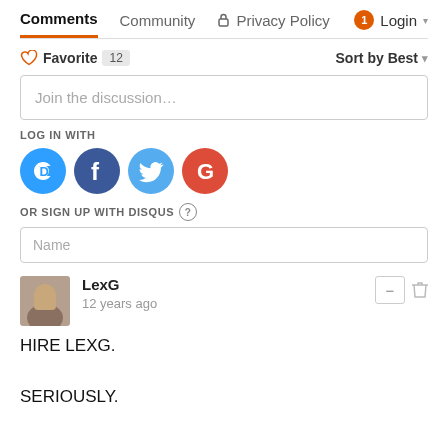Comments  Community  Privacy Policy  Login
♡ Favorite 12    Sort by Best
Join the discussion…
LOG IN WITH
[Figure (logo): Social login icons: Disqus (blue speech bubble with D), Facebook (dark blue circle with f), Twitter (light blue circle with bird), Google (red circle with G)]
OR SIGN UP WITH DISQUS ?
Name
LexG
12 years ago
HIRE LEXG.

SERIOUSLY.